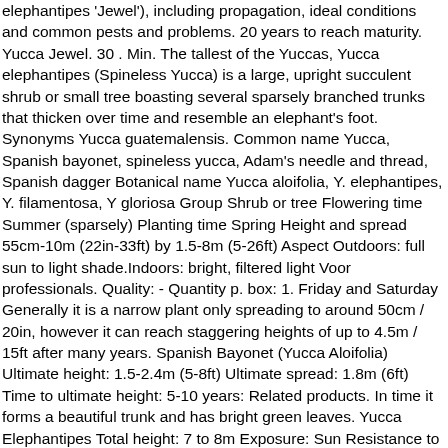elephantipes 'Jewel'), including propagation, ideal conditions and common pests and problems. 20 years to reach maturity. Yucca Jewel. 30 . Min. The tallest of the Yuccas, Yucca elephantipes (Spineless Yucca) is a large, upright succulent shrub or small tree boasting several sparsely branched trunks that thicken over time and resemble an elephant's foot. Synonyms Yucca guatemalensis. Common name Yucca, Spanish bayonet, spineless yucca, Adam's needle and thread, Spanish dagger Botanical name Yucca aloifolia, Y. elephantipes, Y. filamentosa, Y gloriosa Group Shrub or tree Flowering time Summer (sparsely) Planting time Spring Height and spread 55cm-10m (22in-33ft) by 1.5-8m (5-26ft) Aspect Outdoors: full sun to light shade.Indoors: bright, filtered light Voor professionals. Quality: - Quantity p. box: 1. Friday and Saturday Generally it is a narrow plant only spreading to around 50cm / 20in, however it can reach staggering heights of up to 4.5m / 15ft after many years. Spanish Bayonet (Yucca Aloifolia) Ultimate height: 1.5-2.4m (5-8ft) Ultimate spread: 1.8m (6ft) Time to ultimate height: 5-10 years: Related products. In time it forms a beautiful trunk and has bright green leaves. Yucca Elephantipes Total height: 7 to 8m Exposure: Sun Resistance to cold (indicative): -8° Yucca elephantipes jewel. French name: Yucca Elephantipes 'Jewel', Giant